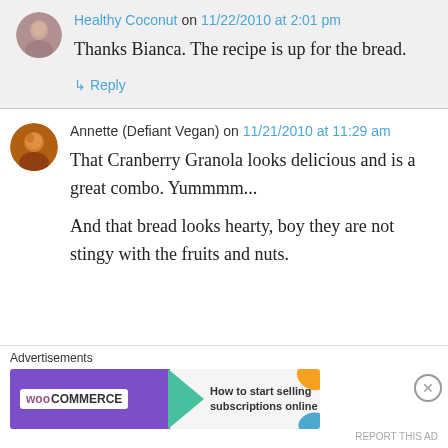Healthy Coconut on 11/22/2010 at 2:01 pm
Thanks Bianca. The recipe is up for the bread.
↳ Reply
Annette (Defiant Vegan) on 11/21/2010 at 11:29 am
That Cranberry Granola looks delicious and is a great combo. Yummmm...
And that bread looks hearty, boy they are not stingy with the fruits and nuts.
Advertisements
[Figure (screenshot): WooCommerce advertisement banner: How to start selling subscriptions online]